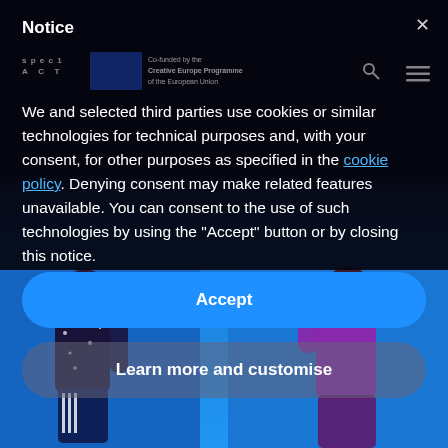[Figure (photo): Background showing two dancers against a blue backdrop — one in dark sparkly costume on the left, one in purple/magenta top on the right — partially obscured by a dark cookie-consent notice overlay.]
Notice
We and selected third parties use cookies or similar technologies for technical purposes and, with your consent, for other purposes as specified in the cookie policy. Denying consent may make related features unavailable. You can consent to the use of such technologies by using the "Accept" button or by closing this notice.
Accept
Learn more and customise